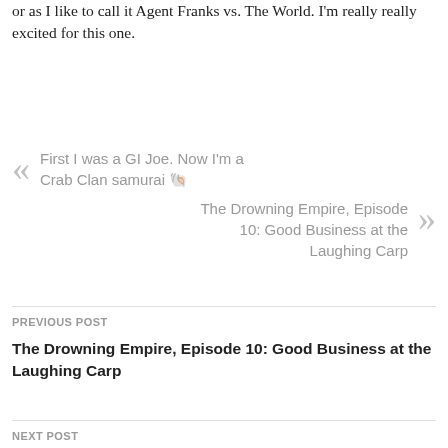or as I like to call it Agent Franks vs. The World.  I'm really really excited for this one.
First I was a GI Joe. Now I'm a Crab Clan samurai 🐚
The Drowning Empire, Episode 10: Good Business at the Laughing Carp
PREVIOUS POST
The Drowning Empire, Episode 10: Good Business at the Laughing Carp
NEXT POST